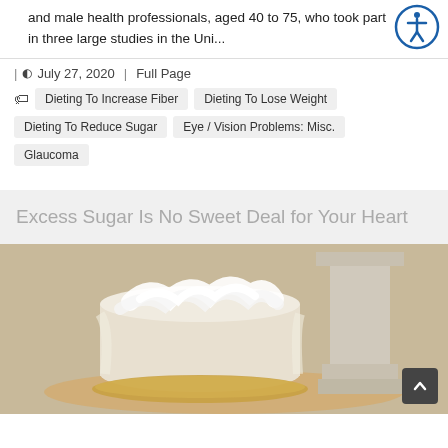and male health professionals, aged 40 to 75, who took part in three large studies in the Uni...
| © July 27, 2020 | Full Page
Dieting To Increase Fiber
Dieting To Lose Weight
Dieting To Reduce Sugar
Eye / Vision Problems: Misc.
Glaucoma
Excess Sugar Is No Sweet Deal for Your Heart
[Figure (photo): White frosted cake on a golden plate with a stone pillar in the background]